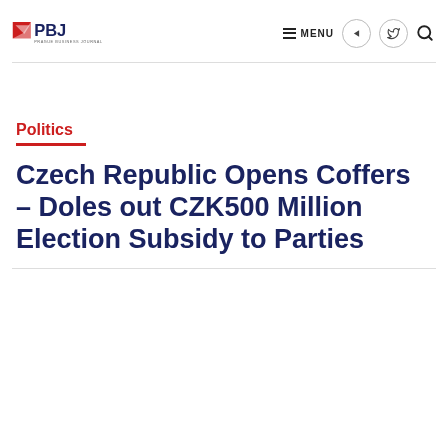PBJ Prague Business Journal — MENU
Politics
Czech Republic Opens Coffers – Doles out CZK500 Million Election Subsidy to Parties